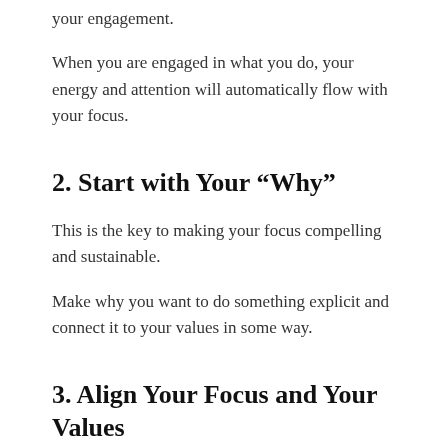your engagement.
When you are engaged in what you do, your energy and attention will automatically flow with your focus.
2. Start with Your “Why”
This is the key to making your focus compelling and sustainable.
Make why you want to do something explicit and connect it to your values in some way.
3. Align Your Focus and Your Values
Once you get clarity on what you want, you need to reduce your internal conflict and deal with competing